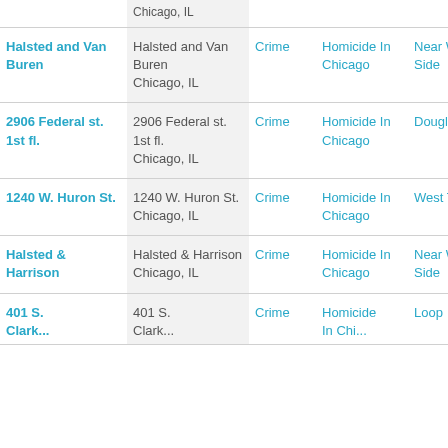| Location (link) | Address | Category | Type | Neighborhood |
| --- | --- | --- | --- | --- |
| Chicago, IL (partial) |  |  |  |  |
| Halsted and Van Buren | Halsted and Van Buren Chicago, IL | Crime | Homicide In Chicago | Near West Side |
| 2906 Federal st. 1st fl. | 2906 Federal st. 1st fl. Chicago, IL | Crime | Homicide In Chicago | Douglas |
| 1240 W. Huron St. | 1240 W. Huron St. Chicago, IL | Crime | Homicide In Chicago | West Town |
| Halsted & Harrison | Halsted & Harrison Chicago, IL | Crime | Homicide In Chicago | Near West Side |
| 401 S. Clark... (partial) | 401 S. Clark... (partial) | Crime | Homicide In Chicago (partial) | Loop |